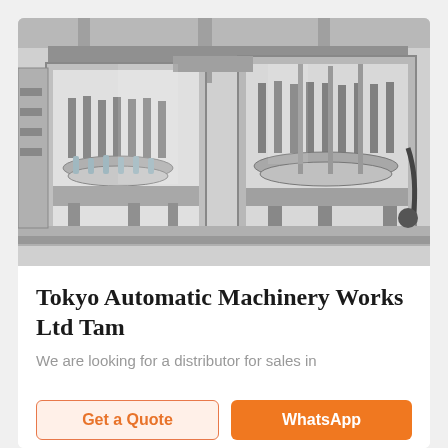[Figure (photo): Industrial filling/bottling machine in a factory setting — large stainless steel automated machinery with multiple filling heads, tubes, and mechanical components visible through transparent panels]
Tokyo Automatic Machinery Works Ltd Tam
We are looking for a distributor for sales in